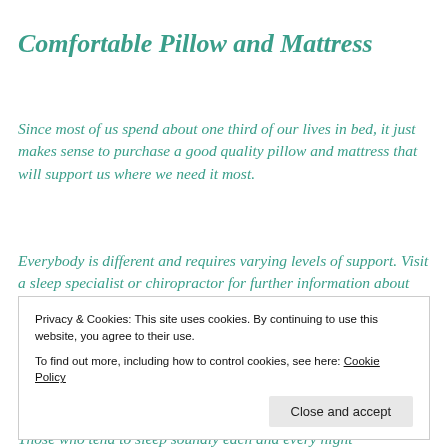Comfortable Pillow and Mattress
Since most of us spend about one third of our lives in bed, it just makes sense to purchase a good quality pillow and mattress that will support us where we need it most.
Everybody is different and requires varying levels of support. Visit a sleep specialist or chiropractor for further information about getting the right sleeping support for your body. Investing wisely here could be one of the best decisions you make.
Privacy & Cookies: This site uses cookies. By continuing to use this website, you agree to their use.
To find out more, including how to control cookies, see here: Cookie Policy
Those who tend to sleep soundly each and every night